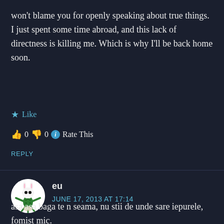won't blame you for openly speaking about true things. I just spent some time abroad, and this lack of directness is killing me. Which is why I'll be back home soon.
★ Like
👍 0 👎 0 ℹ Rate This
REPLY
eu
JUNE 17, 2013 AT 17:14
asa asa baga te n seama, nu stii de unde sare iepurele, fomist mic.